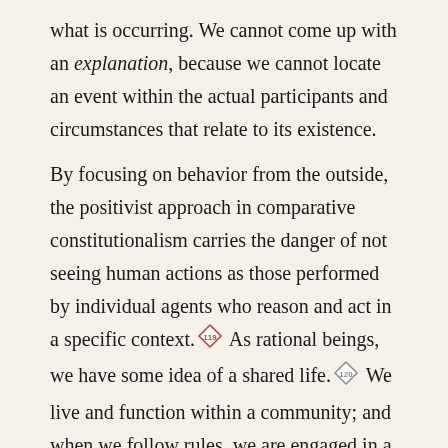what is occurring. We cannot come up with an explanation, because we cannot locate an event within the actual participants and circumstances that relate to its existence.

By focusing on behavior from the outside, the positivist approach in comparative constitutionalism carries the danger of not seeing human actions as those performed by individual agents who reason and act in a specific context.[119] As rational beings, we have some idea of a shared life.[120] We live and function within a community; and when we follow rules, we are engaged in a practice.[121] When we are outside of the shared agreement that constitutes rule